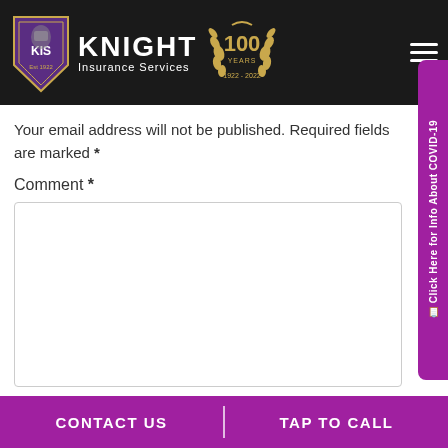[Figure (logo): Knight Insurance Services logo with shield/knight emblem and 100 Years 1922-2022 badge on dark header]
Your email address will not be published. Required fields are marked *
Comment *
CONTACT US | TAP TO CALL